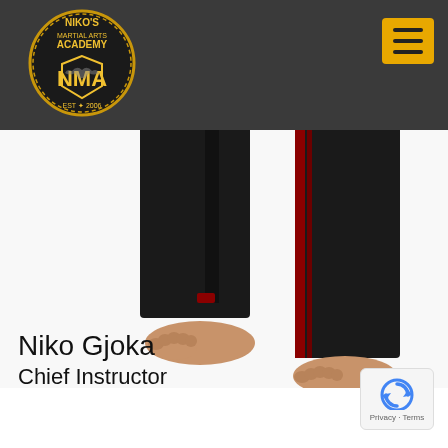Niko's Martial Arts Academy - NMA header with logo and hamburger menu
[Figure (photo): Lower legs and feet of a person wearing black martial arts pants with red stripe detail and black belt, standing barefoot on white background]
Niko Gjoka
Chief Instructor
[Figure (logo): Google reCAPTCHA badge with blue icon and Privacy - Terms text]